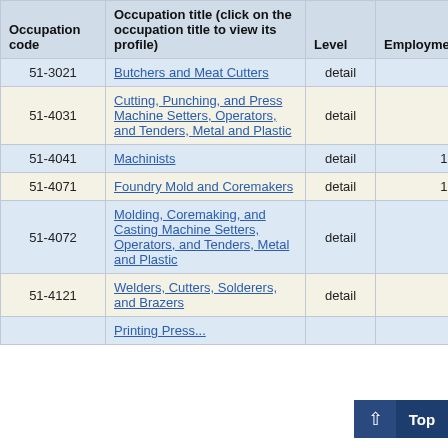| Occupation code | Occupation title (click on the occupation title to view its profile) | Level | Employment | Employment RSE |
| --- | --- | --- | --- | --- |
| 51-3021 | Butchers and Meat Cutters | detail | 50 | 13 |
| 51-4031 | Cutting, Punching, and Press Machine Setters, Operators, and Tenders, Metal and Plastic | detail | 30 | 7 |
| 51-4041 | Machinists | detail | 170 | 11 |
| 51-4071 | Foundry Mold and Coremakers | detail | 120 | 7 |
| 51-4072 | Molding, Coremaking, and Casting Machine Setters, Operators, and Tenders, Metal and Plastic | detail | 80 | 17 |
| 51-4121 | Welders, Cutters, Solderers, and Brazers | detail | 16 |  |
|  | Printing Press... |  |  |  |